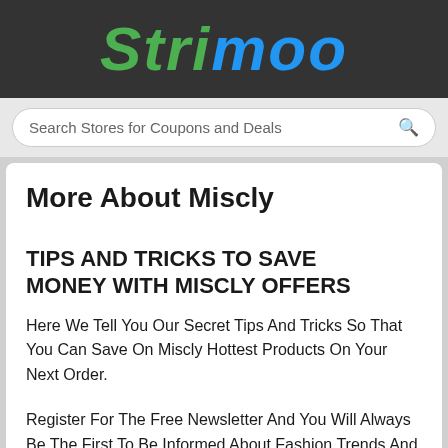Strimoo
Search Stores for Coupons and Deals
More About Miscly
TIPS AND TRICKS TO SAVE MONEY WITH Miscly OFFERS
Here We Tell You Our Secret Tips And Tricks So That You Can Save On Miscly Hottest Products On Your Next Order.
Register For The Free Newsletter And You Will Always Be The First To Be Informed About Fashion Trends And Fantastic Offers. If You Are Looking For Absolute Bargains, Then You Should Definitely Stop By The Sale Area / Clearance Items.